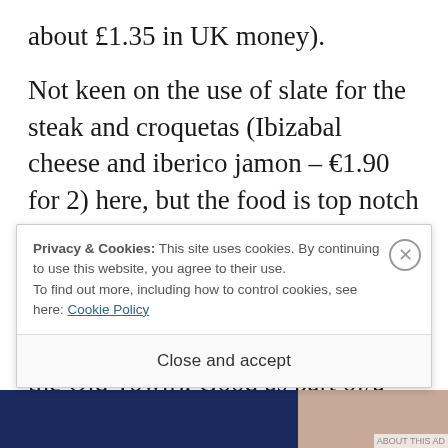about £1.35 in UK money).

Not keen on the use of slate for the steak and croquetas (Ibizabal cheese and iberico jamon – €1.90 for 2) here, but the food is top notch and they have some good wines by the glass. A definite “must visit” this one and close to the always good Bar Antonio (and not far from the Old Town). Good as part of/a start off point for a b
Privacy & Cookies: This site uses cookies. By continuing to use this website, you agree to their use.
To find out more, including how to control cookies, see here: Cookie Policy
Close and accept
[Figure (photo): Bottom strip with dark navy blue background on left and skin-toned/portrait photo on right]